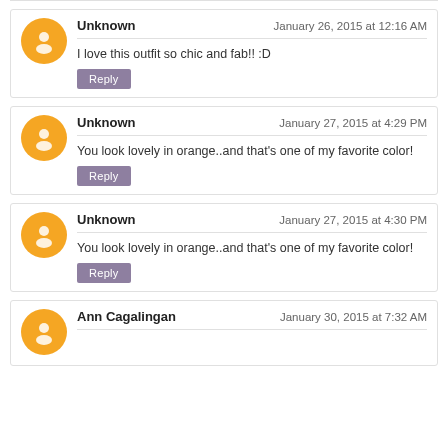Unknown — January 26, 2015 at 12:16 AM
I love this outfit so chic and fab!! :D
Unknown — January 27, 2015 at 4:29 PM
You look lovely in orange..and that's one of my favorite color!
Unknown — January 27, 2015 at 4:30 PM
You look lovely in orange..and that's one of my favorite color!
Ann Cagalingan — January 30, 2015 at 7:32 AM